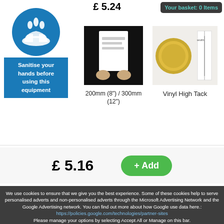£ 5.24
Your basket: 0 Items
[Figure (illustration): Blue circular safety sign with handwashing icon, below it a blue rectangle with text: Sanitise your hands before using this equipment]
[Figure (photo): Product photo showing a person holding a label/sticker sheet, black and white image]
200mm (8") / 300mm (12")
[Figure (photo): Product photo showing a coin next to a label/sticker for size reference]
Vinyl High Tack
£ 5.16
+ Add
We use cookies to ensure that we give you the best experience. Some of these cookies help to serve personalised adverts and non-personalised adverts through the Microsoft Advertising Network and the Google Advertising network. You can find out more about how Google use data here.: https://policies.google.com/technologies/partner-sites Please manage your options by selecting Accept All or Manage on this bar.
Accept all
Manage
See privacy policy